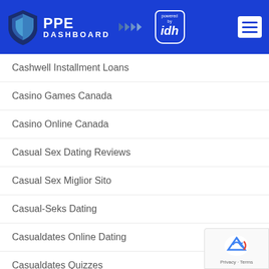[Figure (logo): PPE Dashboard logo with shield icon and 'powered by idh' badge, blue header with hamburger menu]
Cashwell Installment Loans
Casino Games Canada
Casino Online Canada
Casual Sex Dating Reviews
Casual Sex Miglior Sito
Casual-Seks Dating
Casualdates Online Dating
Casualdates Quizzes
Casualdates Reviews